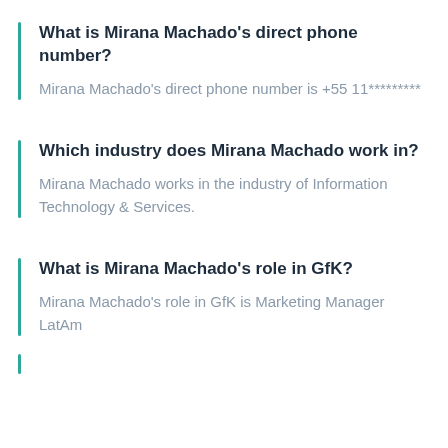What is Mirana Machado's direct phone number?
Mirana Machado's direct phone number is +55 11*********
Which industry does Mirana Machado work in?
Mirana Machado works in the industry of Information Technology & Services.
What is Mirana Machado's role in GfK?
Mirana Machado's role in GfK is Marketing Manager LatAm